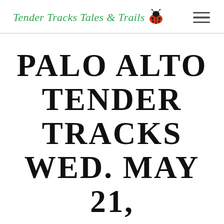Tender Tracks Tales & Trails
PALO ALTO TENDER TRACKS WED. MAY 21, 2014 DAY 33